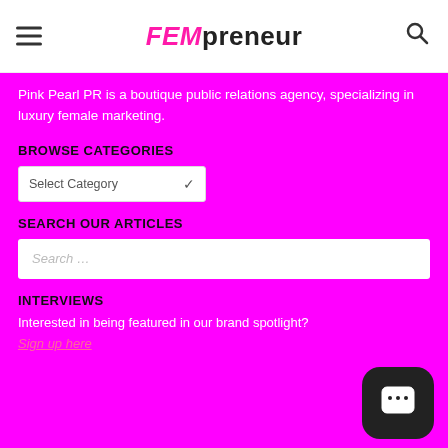FEMpreneur
Pink Pearl PR is a boutique public relations agency, specializing in luxury female marketing.
BROWSE CATEGORIES
Select Category
SEARCH OUR ARTICLES
Search …
INTERVIEWS
Interested in being featured in our brand spotlight?
Sign up here